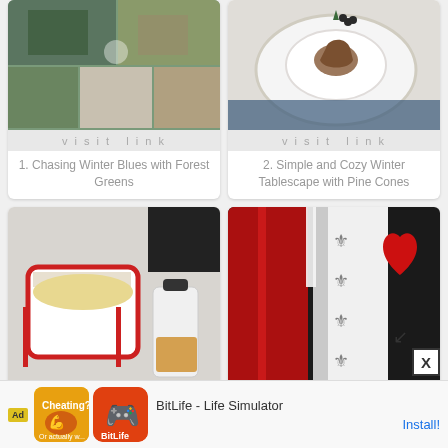[Figure (photo): Collage of winter home decor with forest greens and floral arrangements]
visit link
1. Chasing Winter Blues with Forest Greens
[Figure (photo): Pine cone on white plate with blue napkin and dark berries]
visit link
2. Simple and Cozy Winter Tablescape with Pine Cones
[Figure (photo): Red and white bowl of popcorn with popcorn kernels bottle on table]
visit link
[Figure (photo): Valentine's Day red sequin heart decoration with ribbons and fabric]
visit link
[Figure (screenshot): Ad banner: BitLife - Life Simulator app advertisement with Install button]